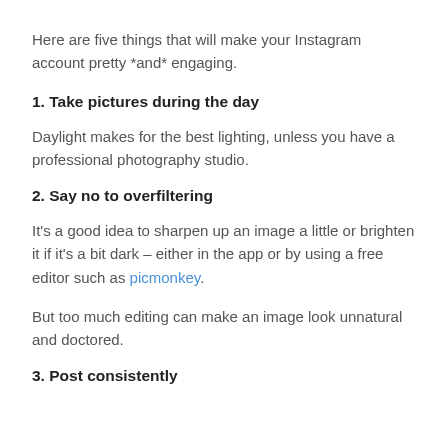Here are five things that will make your Instagram account pretty *and* engaging.
1. Take pictures during the day
Daylight makes for the best lighting, unless you have a professional photography studio.
2. Say no to overfiltering
It's a good idea to sharpen up an image a little or brighten it if it's a bit dark – either in the app or by using a free editor such as picmonkey.
But too much editing can make an image look unnatural and doctored.
3. Post consistently